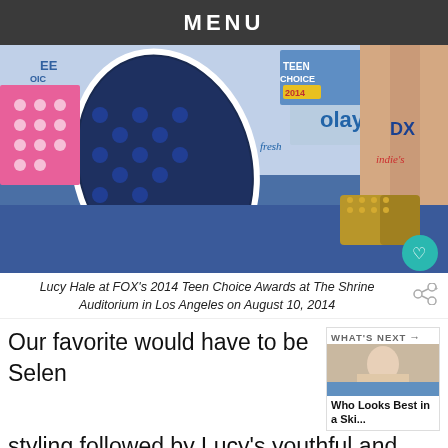MENU
[Figure (photo): Lucy Hale at FOX's 2014 Teen Choice Awards — close-up of her legs and studded gold ankle-strap heels on blue carpet, with Teen Choice Awards 2014 and Olay sponsor backdrop visible, surfboard in background.]
Lucy Hale at FOX's 2014 Teen Choice Awards at The Shrine Auditorium in Los Angeles on August 10, 2014
Our favorite would have to be Selen styling followed by Lucy's youthful and fresh
[Figure (photo): What's Next thumbnail showing a woman in a ski outfit]
WHAT'S NEXT → Who Looks Best in a Ski...
[Figure (photo): Ad banner: CHANGE LIVES with a cat photo, purple background]